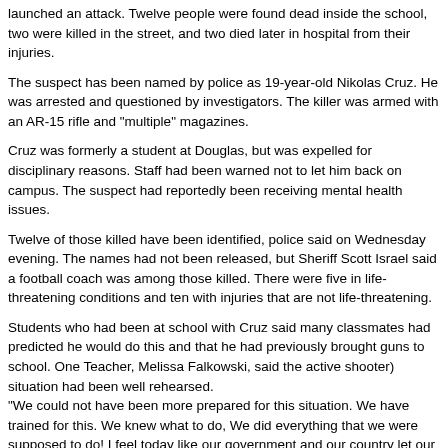launched an attack. Twelve people were found dead inside the school, two were killed in the street, and two died later in hospital from their injuries.
The suspect has been named by police as 19-year-old Nikolas Cruz. He was arrested and questioned by investigators. The killer was armed with an AR-15 rifle and "multiple" magazines.
Cruz was formerly a student at Douglas, but was expelled for disciplinary reasons. Staff had been warned not to let him back on campus. The suspect had reportedly been receiving mental health issues.
Twelve of those killed have been identified, police said on Wednesday evening. The names had not been released, but Sheriff Scott Israel said a football coach was among those killed. There were five in life-threatening conditions and ten with injuries that are not life-threatening.
Students who had been at school with Cruz said many classmates had predicted he would do this and that he had previously brought guns to school. One Teacher, Melissa Falkowski, said the active shooter) situation had been well rehearsed.
"We could not have been more prepared for this situation. We have trained for this. We knew what to do, We did everything that we were supposed to do! I feel today like our government and our country let our kids and didn't keep us safe. This tragedy appears to be the eighth deadliest mass shooting in US history. It is also one of at least eight U.S. school shootings so far in 2018 that have resulted in injury. The so-called President tweeted his "prayers and condolences" to those affected, but made no mention of the attack, reports said. But others said thoughts and prayers were not enough."
Chris Murphy, senator for Connecticut – site of the 2012 Sandy Hook school shooting where 20 children were killed – said:
"This happens nowhere else other than the United States of America. This epidemic of mass shootings, school shooting after school shooting. It only happens here not because of coincidence, but as a direct consequence of our inaction. We are responsible!"
Another reporter, 'Lois Beckett,' said, "The emotional impact of school shootings has benefited the industry. In 2017, the market for security equipment in the education sector was estimated at $2.7bn by industry analysts at IHS Markit. Some companies have capitalized on parents' fear..."